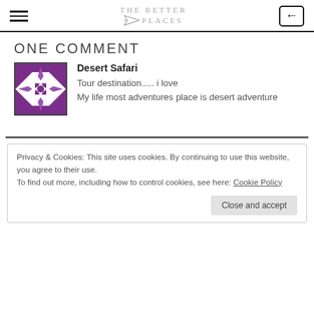THE BETTER PLACES
ONE COMMENT
[Figure (logo): Purple geometric quilt-pattern avatar icon for Desert Safari commenter]
Desert Safari
Tour destination..... i love
My life most adventures place is desert adventure
Privacy & Cookies: This site uses cookies. By continuing to use this website, you agree to their use.
To find out more, including how to control cookies, see here: Cookie Policy
Close and accept